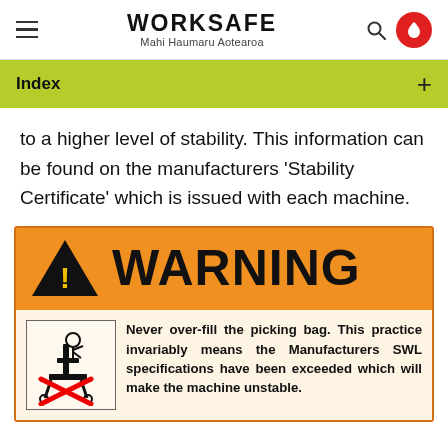WORKSAFE Mahi Haumaru Aotearoa
Index
to a higher level of stability. This information can be found on the manufacturers 'Stability Certificate' which is issued with each machine.
[Figure (infographic): WARNING label with orange background, black triangle with yellow exclamation mark, bold WARNING text, and a warning box below with an illustration of a person on a picking machine with a red X, and text: Never over-fill the picking bag. This practice invariably means the Manufacturers SWL specifications have been exceeded which will make the machine unstable.]